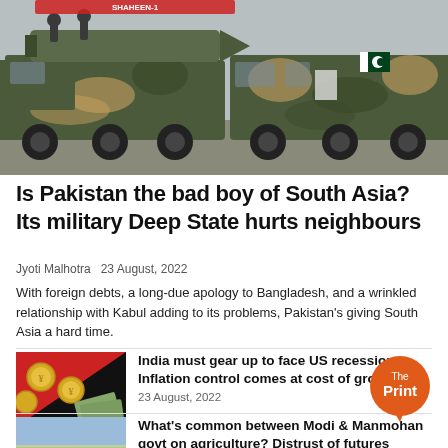[Figure (photo): Military trucks carrying missiles in camouflage paint with Pakistan flag visible, during a military parade]
Is Pakistan the bad boy of South Asia? Its military Deep State hurts neighbours
Jyoti Malhotra 23 August, 2022
With foreign debts, a long-due apology to Bangladesh, and a wrinkled relationship with Kabul adding to its problems, Pakistan's giving South Asia a hard time.
[Figure (photo): Red and black background with gold coins and dollar bills illustration]
India must gear up to face US recession. Inflation control comes at cost of growth
23 August, 2022
[Figure (logo): The Print logo - orange circle with speech bubble]
[Figure (photo): Agricultural field with farming machinery]
What's common between Modi & Manmohan govt on agriculture? Distrust of futures markets